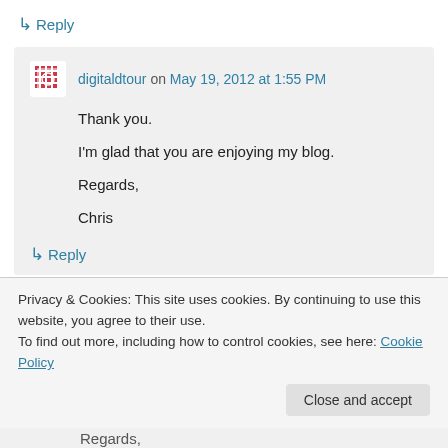↳ Reply
digitaldtour on May 19, 2012 at 1:55 PM
Thank you.
I'm glad that you are enjoying my blog.
Regards,
Chris
↳ Reply
Privacy & Cookies: This site uses cookies. By continuing to use this website, you agree to their use.
To find out more, including how to control cookies, see here: Cookie Policy
Close and accept
Regards,